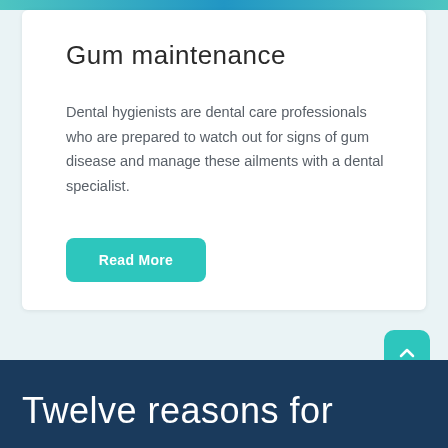Gum maintenance
Dental hygienists are dental care professionals who are prepared to watch out for signs of gum disease and manage these ailments with a dental specialist.
Read More
Twelve reasons for